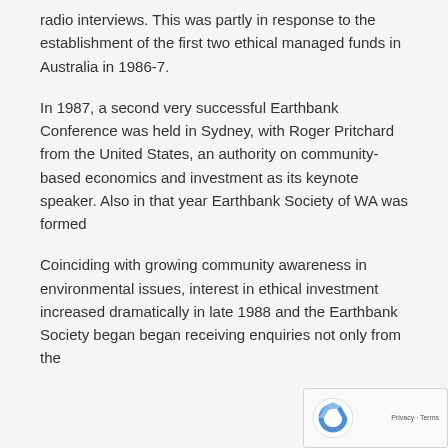radio interviews. This was partly in response to the establishment of the first two ethical managed funds in Australia in 1986-7.
In 1987, a second very successful Earthbank Conference was held in Sydney, with Roger Pritchard from the United States, an authority on community-based economics and investment as its keynote speaker. Also in that year Earthbank Society of WA was formed
Coinciding with growing community awareness in environmental issues, interest in ethical investment increased dramatically in late 1988 and the Earthbank Society began began receiving enquiries not only from the